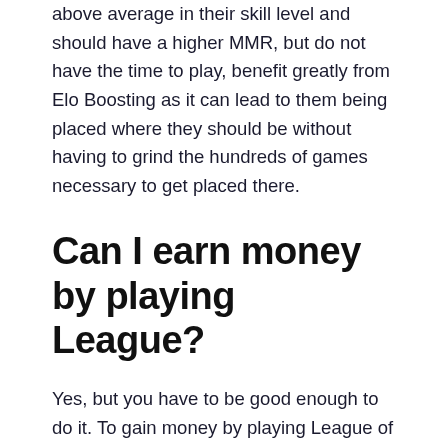above average in their skill level and should have a higher MMR, but do not have the time to play, benefit greatly from Elo Boosting as it can lead to them being placed where they should be without having to grind the hundreds of games necessary to get placed there.
Can I earn money by playing League?
Yes, but you have to be good enough to do it. To gain money by playing League of Legends, you have to be qualified enough in skill to be an Elo Booster. This is the player who ranks up the accounts of other people to actually boost the customers to a higher rank after a payment of money. Most Elo Boosting websites will be looking for players who are at least Masters in North